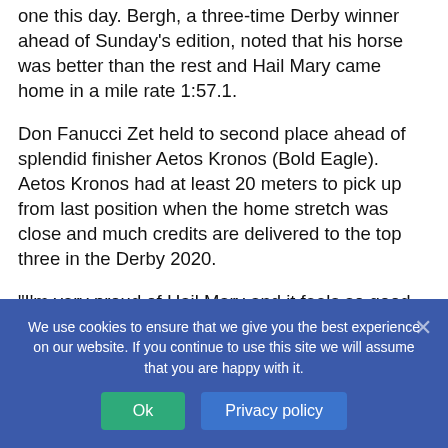one this day. Bergh, a three-time Derby winner ahead of Sunday's edition, noted that his horse was better than the rest and Hail Mary came home in a mile rate 1:57.1.
Don Fanucci Zet held to second place ahead of splendid finisher Aetos Kronos (Bold Eagle). Aetos Kronos had at least 20 meters to pick up from last position when the home stretch was close and much credits are delivered to the top three in the Derby 2020.
“I’m very proud of Hail Mary and it feels so good
We use cookies to ensure that we give you the best experience on our website. If you continue to use this site we will assume that you are happy with it.
Ok
Privacy policy